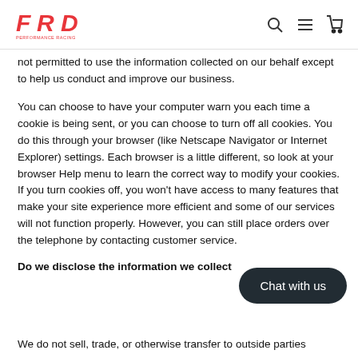FRD logo with search, menu, and cart icons
not permitted to use the information collected on our behalf except to help us conduct and improve our business.
You can choose to have your computer warn you each time a cookie is being sent, or you can choose to turn off all cookies. You do this through your browser (like Netscape Navigator or Internet Explorer) settings. Each browser is a little different, so look at your browser Help menu to learn the correct way to modify your cookies. If you turn cookies off, you won't have access to many features that make your site experience more efficient and some of our services will not function properly. However, you can still place orders over the telephone by contacting customer service.
Do we disclose the information we collect
We do not sell, trade, or otherwise transfer to outside parties